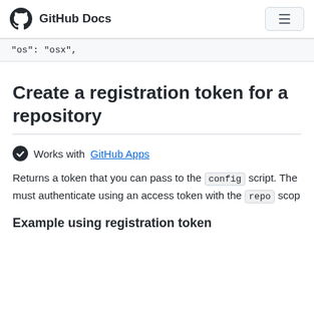GitHub Docs
"os": "osx",
Create a registration token for a repository
Works with GitHub Apps
Returns a token that you can pass to the config script. The must authenticate using an access token with the repo scop
Example using registration token